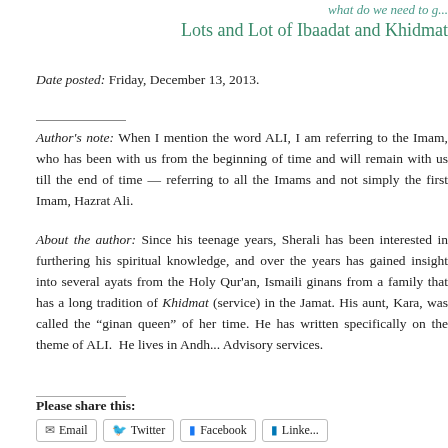what do we need to g... Lots and Lot of Ibaadat and Khidmat
Date posted: Friday, December 13, 2013.
Author's note: When I mention the word ALI, I am referring to the Imam, who has been with us from the beginning of time and will remain with us till the end of time — referring to all the Imams and not simply the first Imam, Hazrat Ali.
About the author: Since his teenage years, Sherali has been interested in furthering his spiritual knowledge, and over the years has gained insight into several ayats from the Holy Qur'an, Ismaili ginans from a family that has a long tradition of Khidmat (service) in the Jamat. His aunt, Kara, was called the "ginan queen" of her time. He has written specifically on the theme of ALI.  He lives in Andh... and provides Advisory services.
Please share this: